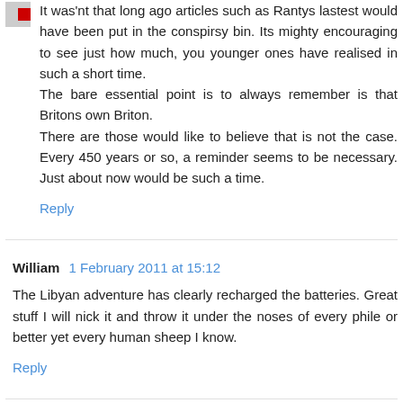It was'nt that long ago articles such as Rantys lastest would have been put in the conspirsy bin. Its mighty encouraging to see just how much, you younger ones have realised in such a short time.
The bare essential point is to always remember is that Britons own Briton.
There are those would like to believe that is not the case. Every 450 years or so, a reminder seems to be necessary. Just about now would be such a time.
Reply
William  1 February 2011 at 15:12
The Libyan adventure has clearly recharged the batteries. Great stuff I will nick it and throw it under the noses of every phile or better yet every human sheep I know.
Reply
The Lizard King  1 February 2011 at 15:43
Captain,